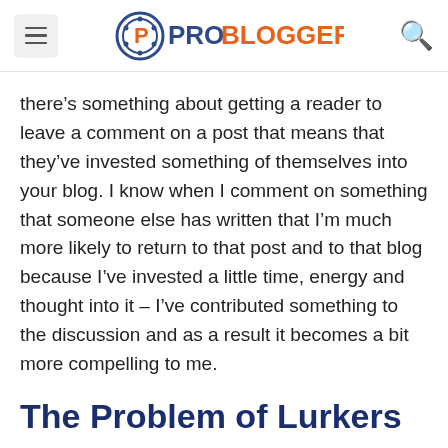ProBlogger
there's something about getting a reader to leave a comment on a post that means that they've invested something of themselves into your blog. I know when I comment on something that someone else has written that I'm much more likely to return to that post and to that blog because I've invested a little time, energy and thought into it – I've contributed something to the discussion and as a result it becomes a bit more compelling to me.
The Problem of Lurkers